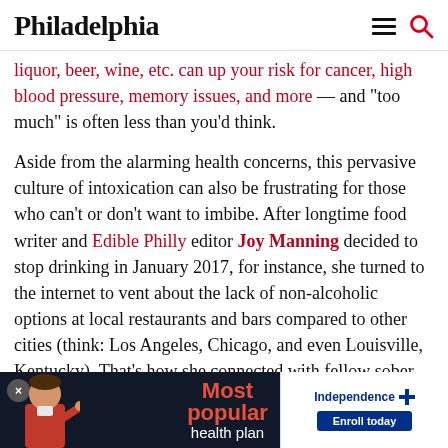Philadelphia
liquor, beer, wine, etc. can up your risk for cancer, high blood pressure, memory issues, and more — and “too much” is often less than you’d think.
Aside from the alarming health concerns, this pervasive culture of intoxication can also be frustrating for those who can’t or don’t want to imbibe. After longtime food writer and Edible Philly editor Joy Manning decided to stop drinking in January 2017, for instance, she turned to the internet to vent about the lack of non-alcoholic options at local restaurants and bars compared to other cities (think: Los Angeles, Chicago, and even Louisville, Kentucky). That’s how she connected with fellow sober foodie Annie Baum-Stein, the general manager of Milk Honey Market in West Philly. “Some people who don’t
[Figure (other): Advertisement banner: Most popular health plan — Independence Blue Cross, Enroll today]